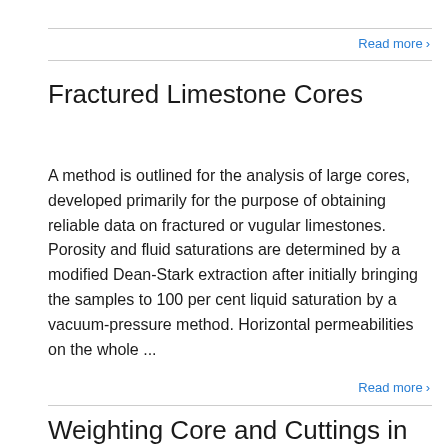Read more
Fractured Limestone Cores
A method is outlined for the analysis of large cores, developed primarily for the purpose of obtaining reliable data on fractured or vugular limestones. Porosity and fluid saturations are determined by a modified Dean-Stark extraction after initially bringing the samples to 100 per cent liquid saturation by a vacuum-pressure method. Horizontal permeabilities on the whole ...
Read more
Weighting Core and Cuttings in